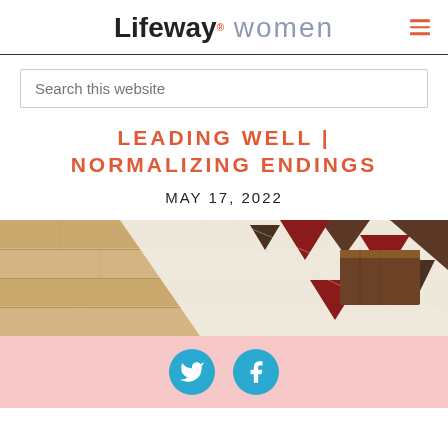Lifeway women
Search this website
LEADING WELL | NORMALIZING ENDINGS
MAY 17, 2022
[Figure (photo): Close-up photo of wood flooring and a patterned rug with geometric triangle designs in red and white]
[Figure (infographic): Social share buttons: Twitter and Facebook circular icons on pink background]